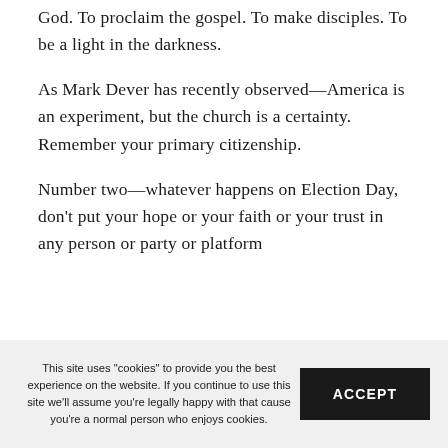God. To proclaim the gospel. To make disciples. To be a light in the darkness.
As Mark Dever has recently observed—America is an experiment, but the church is a certainty. Remember your primary citizenship.
Number two—whatever happens on Election Day, don't put your hope or your faith or your trust in any person or party or platform
This site uses "cookies" to provide you the best experience on the website. If you continue to use this site we'll assume you're legally happy with that cause you're a normal person who enjoys cookies.